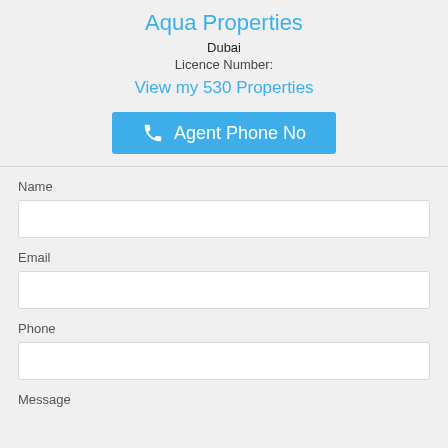Aqua Properties
Dubai
Licence Number:
View my 530 Properties
Agent Phone No
Name
Email
Phone
Message